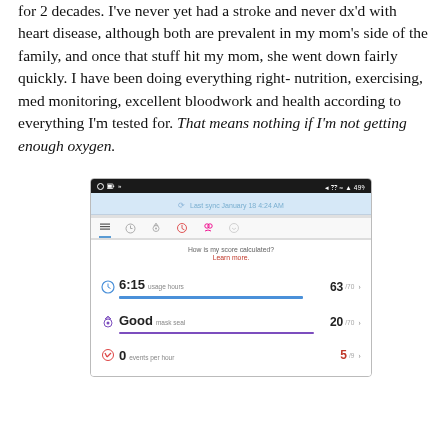for 2 decades. I've never yet had a stroke and never dx'd with heart disease, although both are prevalent in my mom's side of the family, and once that stuff hit my mom, she went down fairly quickly. I have been doing everything right- nutrition, exercising, med monitoring, excellent bloodwork and health according to everything I'm tested for. That means nothing if I'm not getting enough oxygen.
[Figure (screenshot): CPAP therapy app screenshot showing last sync January 18 4:24 AM, usage hours 6:15 with score 63/70, Good mask seal with score 20/70, 0 events per hour with score 5/9]